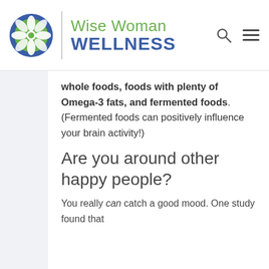Wise Woman WELLNESS
whole foods, foods with plenty of Omega-3 fats, and fermented foods. (Fermented foods can positively influence your brain activity!)
Are you around other happy people?
You really can catch a good mood. One study found that